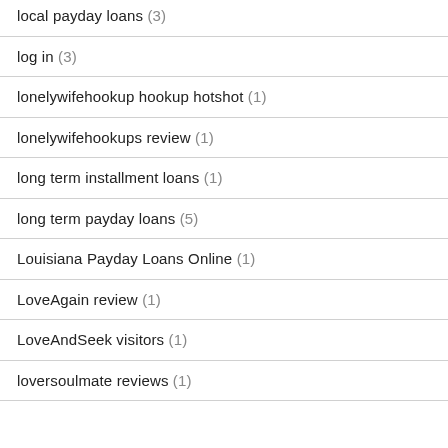local payday loans (3)
log in (3)
lonelywifehookup hookup hotshot (1)
lonelywifehookups review (1)
long term installment loans (1)
long term payday loans (5)
Louisiana Payday Loans Online (1)
LoveAgain review (1)
LoveAndSeek visitors (1)
loversoulmate reviews (1)